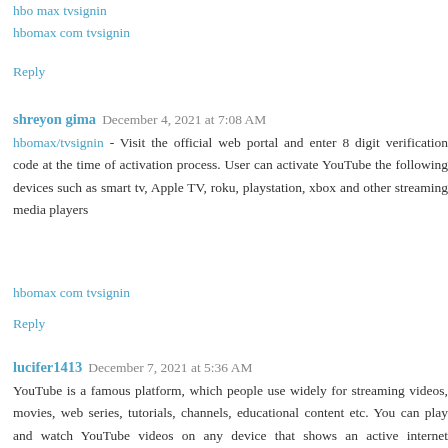hbo max tvsignin
hbomax com tvsignin
Reply
shreyon gima  December 4, 2021 at 7:08 AM
hbomax/tvsignin - Visit the official web portal and enter 8 digit verification code at the time of activation process. User can activate YouTube the following devices such as smart tv, Apple TV, roku, playstation, xbox and other streaming media players
hbomax com tvsignin
Reply
lucifer1413  December 7, 2021 at 5:36 AM
YouTube is a famous platform, which people use widely for streaming videos, movies, web series, tutorials, channels, educational content etc. You can play and watch YouTube videos on any device that shows an active internet connection and video support. But, there are situations